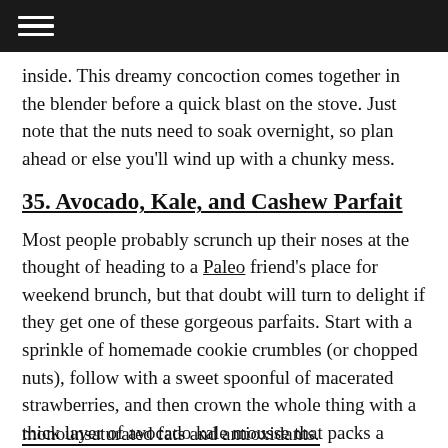≡
inside. This dreamy concoction comes together in the blender before a quick blast on the stove. Just note that the nuts need to soak overnight, so plan ahead or else you'll wind up with a chunky mess.
35. Avocado, Kale, and Cashew Parfait
Most people probably scrunch up their noses at the thought of heading to a Paleo friend's place for weekend brunch, but that doubt will turn to delight if they get one of these gorgeous parfaits. Start with a sprinkle of homemade cookie crumbles (or chopped nuts), follow with a sweet spoonful of macerated strawberries, and then crown the whole thing with a thick layer of avocado kale mousse that packs a serious punch of monounsaturated fats and antioxidants.